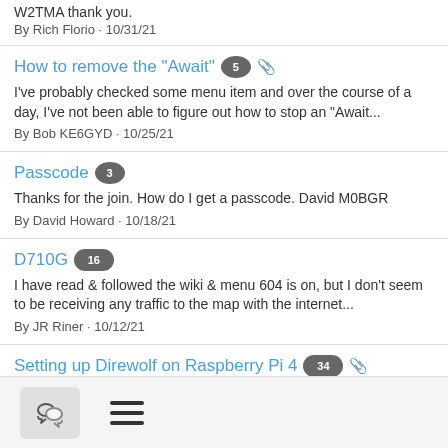W2TMA thank you.
By Rich Florio · 10/31/21
How to remove the "Await"
I've probably checked some menu item and over the course of a day, I've not been able to figure out how to stop an "Await...
By Bob KE6GYD · 10/25/21
Passcode
Thanks for the join. How do I get a passcode. David M0BGR
By David Howard · 10/18/21
D710G
I have read & followed the wiki & menu 604 is on, but I don't seem to be receiving any traffic to the map with the internet...
By JR Riner · 10/12/21
Setting up Direwolf on Raspberry Pi 4
I have a Raspberry Pi 4, I recently installed Wine and was able to run APRSIS32 (I was able to copy OSMTiles folder from my PC...